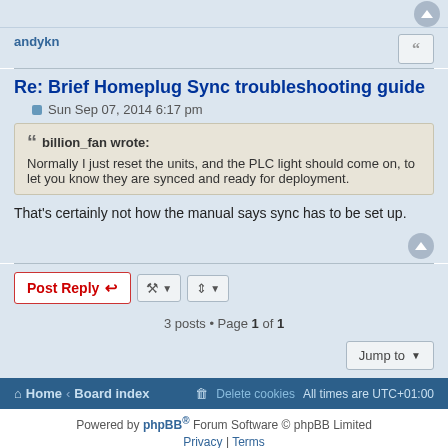andykn
Re: Brief Homeplug Sync troubleshooting guide
Sun Sep 07, 2014 6:17 pm
billion_fan wrote: Normally I just reset the units, and the PLC light should come on, to let you know they are synced and ready for deployment.
That's certainly not how the manual says sync has to be set up.
Post Reply
3 posts • Page 1 of 1
Jump to
Home · Board index  Delete cookies  All times are UTC+01:00
Powered by phpBB® Forum Software © phpBB Limited  Privacy | Terms